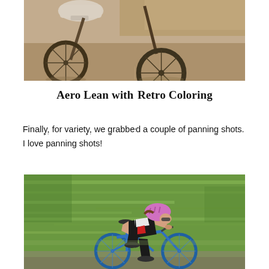[Figure (photo): Close-up sepia/retro toned photograph of bicycle wheels on a road, with a cyclist's shoe/cleat visible at the top, showing an aero lean position. Vintage warm color grading.]
Aero Lean with Retro Coloring
Finally, for variety, we grabbed a couple of panning shots. I love panning shots!
[Figure (photo): Action panning shot of a female cyclist in a triathlon kit (black, white and red) with a pink helmet and sunglasses, riding a blue road bike. Background is motion-blurred green foliage indicating speed.]